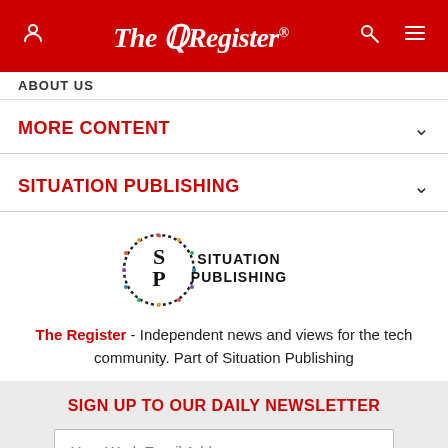The Register
ABOUT US
MORE CONTENT
SITUATION PUBLISHING
[Figure (logo): Situation Publishing logo — SP monogram in a dotted circle with 'SITUATION PUBLISHING' text]
The Register - Independent news and views for the tech community. Part of Situation Publishing
SIGN UP TO OUR DAILY NEWSLETTER
Your Work Email Address
SUBSCRIBE